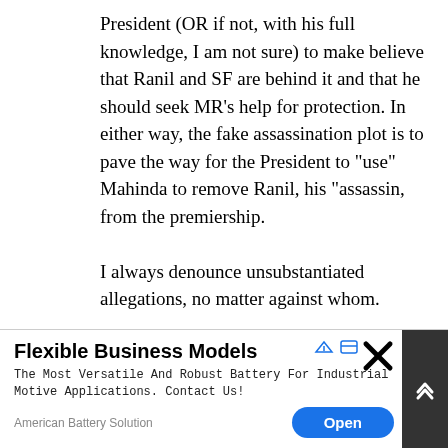President (OR if not, with his full knowledge, I am not sure) to make believe that Ranil and SF are behind it and that he should seek MR’s help for protection. In either way, the fake assassination plot is to pave the way for the President to “use” Mahinda to remove Ranil, his “assassin, from the premiership.
I always denounce unsubstantiated allegations, no matter against whom.
I still maintain what I said, this is clearly not Mahinda’s idea.
[Figure (screenshot): Advertisement banner: 'Flexible Business Models' - The Most Versatile And Robust Battery For Industrial Motive Applications. Contact Us! - American Battery Solution with Open button]